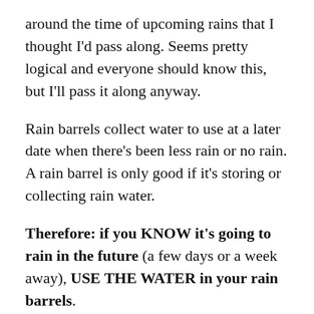around the time of upcoming rains that I thought I'd pass along. Seems pretty logical and everyone should know this, but I'll pass it along anyway.
Rain barrels collect water to use at a later date when there's been less rain or no rain. A rain barrel is only good if it's storing or collecting rain water.
Therefore: if you KNOW it's going to rain in the future (a few days or a week away), USE THE WATER in your rain barrels.
Empty them. Water your garden, your trees, soak down your compost and turn it over.
Then when it rains, you'll have empty barrels ready for